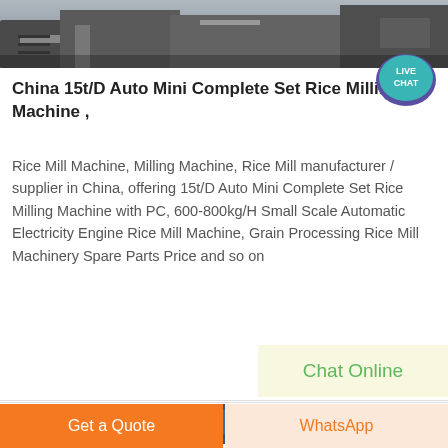[Figure (photo): Top banner photograph of industrial machinery, gray tones]
[Figure (illustration): Live Chat speech bubble icon in teal/purple with text LIVE CHAT]
China 15t/D Auto Mini Complete Set Rice Milling Machine ,
Rice Mill Machine, Milling Machine, Rice Mill manufacturer / supplier in China, offering 15t/D Auto Mini Complete Set Rice Milling Machine with PC, 600-800kg/H Small Scale Automatic Electricity Engine Rice Mill Machine, Grain Processing Rice Mill Machinery Spare Parts Price and so on
Chat Online
[Figure (photo): Bottom strip partial photo of blue industrial machinery]
Get a Quote
WhatsApp